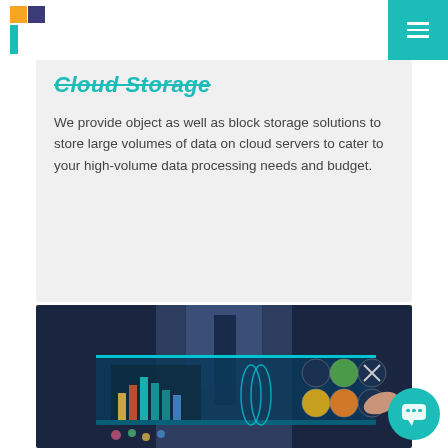Cloud Storage
Cloud Storage
We provide object as well as block storage solutions to store large volumes of data on cloud servers to cater to your high-volume data processing needs and budget.
[Figure (photo): Person in business suit touching a holographic interface displaying medical/data icons including DNA helix, organ icons, and bar charts on a glowing blue panel]